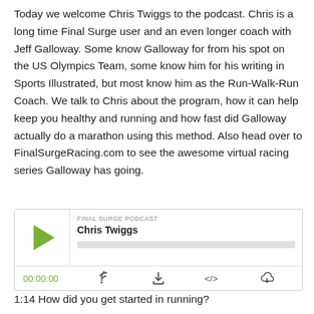Today we welcome Chris Twiggs to the podcast. Chris is a long time Final Surge user and an even longer coach with Jeff Galloway. Some know Galloway for from his spot on the US Olympics Team, some know him for his writing in Sports Illustrated, but most know him as the Run-Walk-Run Coach. We talk to Chris about the program, how it can help keep you healthy and running and how fast did Galloway actually do a marathon using this method. Also head over to FinalSurgeRacing.com to see the awesome virtual racing series Galloway has going.
[Figure (screenshot): Podcast audio player widget showing 'FINAL SURGE PODCAST' label, episode title 'Chris Twiggs', a green play button triangle, a progress bar, time display '00:00:00', and control icons for RSS, download, embed, and share.]
1:14 How did you get started in running?